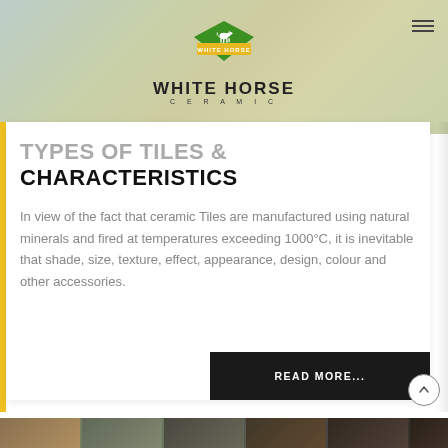[Figure (logo): White Horse Ceramic logo with green diamond shape containing a white horse, brand name WHITE HORSE in bold black letters, CERAMIC in spaced letters below]
TYPES OF TILES & CHARACTERISTICS
In view of the fact that ceramic Tiles are manufactured using natural minerals and fired at temperatures exceeding 1000°C, it is inevitable that shade, size, texture, effect, appearance, design, colour and other accessories.
[Figure (screenshot): Bottom strip showing thumbnail images of tiles/rooms]